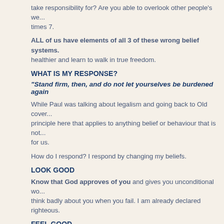take responsibility for? Are you able to overlook other people's we... times 7.
ALL of us have elements of all 3 of these wrong belief systems. healthier and learn to walk in true freedom.
WHAT IS MY RESPONSE?
“Stand firm, then, and do not let yourselves be burdened again
While Paul was talking about legalism and going back to Old cover... principle here that applies to anything belief or behaviour that is not... for us.
How do I respond? I respond by changing my beliefs.
LOOK GOOD
Know that God approves of you and gives you unconditional wo... think badly about you when you fail. I am already declared righteous.
FEEL GOOD
Know that God will not leave you alone. He is always with you in y... us when we are having a bad day. He is close to the brokenhearted.